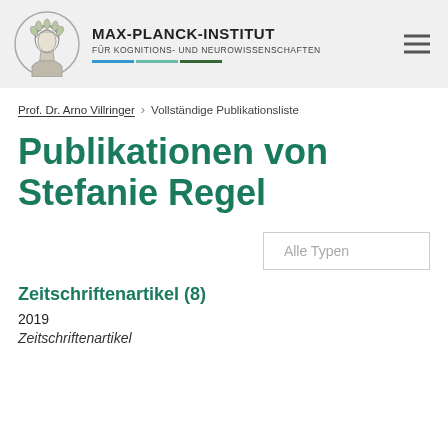MAX-PLANCK-INSTITUT FÜR KOGNITIONS- UND NEUROWISSENSCHAFTEN
Prof. Dr. Arno Villringer > Vollständige Publikationsliste
Publikationen von Stefanie Regel
Alle Typen
Zeitschriftenartikel (8)
2019
Zeitschriftenartikel